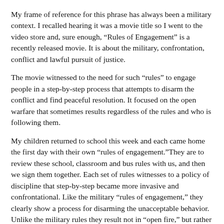My frame of reference for this phrase has always been a military context. I recalled hearing it was a movie title so I went to the video store and, sure enough, “Rules of Engagement” is a recently released movie. It is about the military, confrontation, conflict and lawful pursuit of justice.
The movie witnessed to the need for such “rules” to engage people in a step-by-step process that attempts to disarm the conflict and find peaceful resolution. It focused on the open warfare that sometimes results regardless of the rules and who is following them.
My children returned to school this week and each came home the first day with their own “rules of engagement.”They are to review these school, classroom and bus rules with us, and then we sign them together. Each set of rules witnesses to a policy of discipline that step-by-step became more invasive and confrontational. Like the military “rules of engagement,” they clearly show a process for disarming the unacceptable behavior. Unlike the military rules they result not in “open fire,” but rather expulsion from school. (Thank God!)
Jesus gives us our “rules of engagement” within the church. Step-by-step we proceed, one-on-one, bring a witness or two, take it to the church, etc. Practical and doable. Yet, our history and our